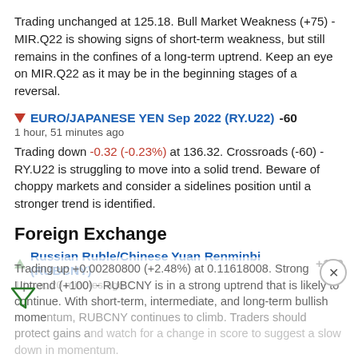Trading unchanged at 125.18. Bull Market Weakness (+75) - MIR.Q22 is showing signs of short-term weakness, but still remains in the confines of a long-term uptrend. Keep an eye on MIR.Q22 as it may be in the beginning stages of a reversal.
EURO/JAPANESE YEN Sep 2022 (RY.U22) -60
1 hour, 51 minutes ago
Trading down -0.32 (-0.23%) at 136.32. Crossroads (-60) - RY.U22 is struggling to move into a solid trend. Beware of choppy markets and consider a sidelines position until a stronger trend is identified.
Foreign Exchange
Russian Ruble/Chinese Yuan Renminbi (RUBCNY) +100
1 hour, 20 minutes ago
Trading up +0.00280800 (+2.48%) at 0.11618008. Strong Uptrend (+100) - RUBCNY is in a strong uptrend that is likely to continue. With short-term, intermediate, and long-term bullish momentum, RUBCNY continues to climb. Traders should protect gains and watch for a change in score to suggest a slow down in momentum.